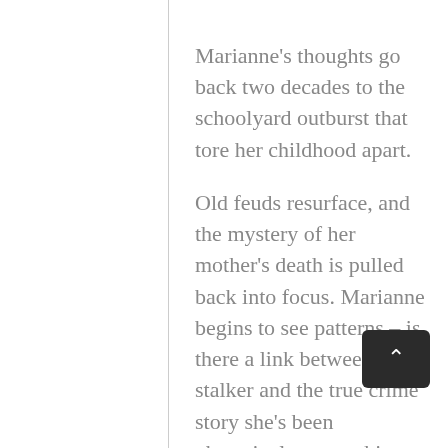Marianne's thoughts go back two decades to the schoolyard outburst that tore her childhood apart.

Old feuds resurface, and the mystery of her mother's death is pulled back into focus. Marianne begins to see patterns – is there a link between her stalker and the true crime story she's been obsessively researching, or does the answer lie closer to home? 24 DAYS. In the